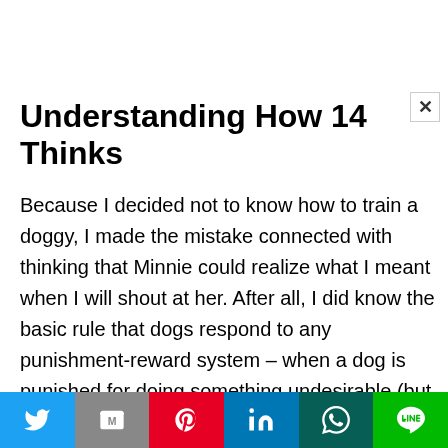Understanding How 14 Thinks
Because I decided not to know how to train a doggy, I made the mistake connected with thinking that Minnie could realize what I meant when I will shout at her. After all, I did know the basic rule that dogs respond to any punishment-reward system – when a dog is punished for doing something undesirable (but never by doing a dog bodily harm!), it will be not as likely to repeat the actions, and if it is rewarded to get a positive act, a dog can do